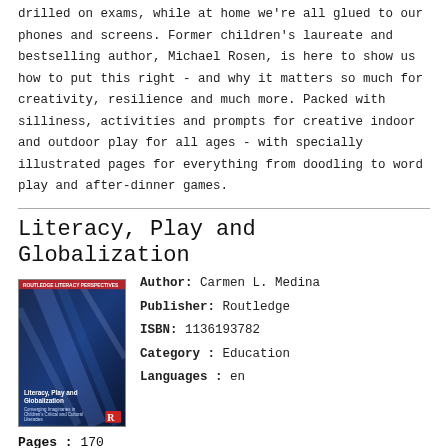drilled on exams, while at home we're all glued to our phones and screens. Former children's laureate and bestselling author, Michael Rosen, is here to show us how to put this right - and why it matters so much for creativity, resilience and much more. Packed with silliness, activities and prompts for creative indoor and outdoor play for all ages - with specially illustrated pages for everything from doodling to word play and after-dinner games.
Literacy, Play and Globalization
Author: Carmen L. Medina
Publisher: Routledge
ISBN: 1136193782
Category: Education
Languages: en
Pages : 170
VIEW » Book Description